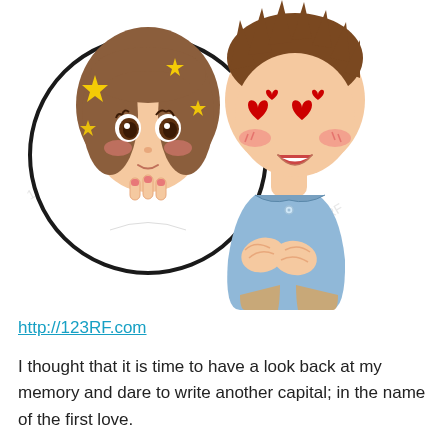[Figure (illustration): Anime/manga style cartoon illustration: a girl inside a circle on the left with sparkles and blushing, holding fingers to mouth; a boy on the right with heart-shaped eyes, blushing, mouth open, hands clasped to chest in a love-struck pose. Watermark text '123RF' visible.]
http://123RF.com
I thought that it is time to have a look back at my memory and dare to write another capital; in the name of the first love.